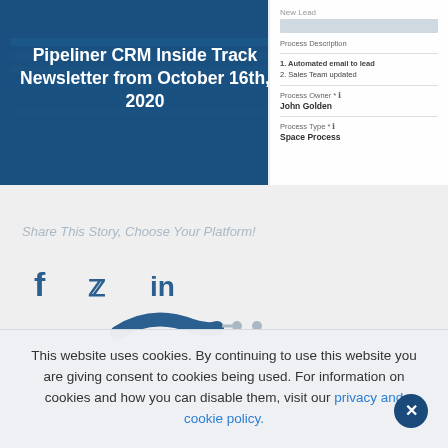[Figure (screenshot): Hero banner with blue background showing a laptop/keyboard image on the left portion and a CRM UI panel on the right showing 'New Lead', 'Process Description', '1. Automated email to lead', '2. Sales Team updated', 'Process Owner: John Golden', 'Process Type: Space Process']
Pipeliner CRM Inside Track Newsletter from October 16th, 2020
Share This Story, Choose Your Platform!
[Figure (infographic): Social sharing icons: Facebook (f), Twitter (bird), LinkedIn (in), and a partial share strip below]
This website uses cookies. By continuing to use this website you are giving consent to cookies being used. For information on cookies and how you can disable them, visit our privacy and cookie policy.